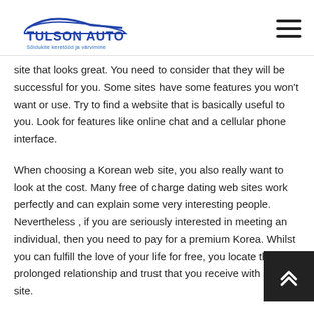TULSON AUTO — Sõidukite keretööd ja värvimine
site that looks great. You need to consider that they will be successful for you. Some sites have some features you won't want or use. Try to find a website that is basically useful to you. Look for features like online chat and a cellular phone interface.
When choosing a Korean web site, you also really want to look at the cost. Many free of charge dating web sites work perfectly and can explain some very interesting people. Nevertheless , if you are seriously interested in meeting an individual, then you need to pay for a premium Korea. Whilst you can fulfill the love of your life for free, you locate the prolonged relationship and trust that you receive with a paid site.